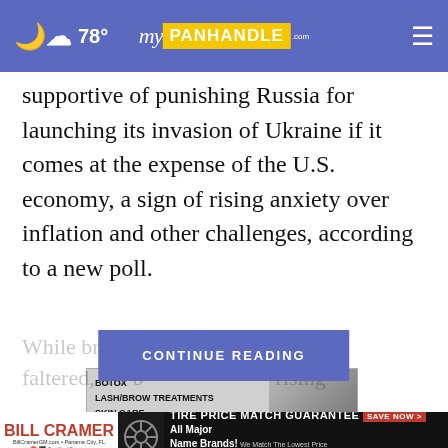78° myPanhandle.com
supportive of punishing Russia for launching its invasion of Ukraine if it comes at the expense of the U.S. economy, a sign of rising anxiety over inflation and other challenges, according to a new poll.
While broad su... as not faltered, the b... rising
CONTINUE READING
[Figure (photo): Advertisement showing beauty services: BOTOX, LASH/BROW TREATMENTS, SKIN CARE, HAIR REMOVAL with a woman's face in black and white]
[Figure (photo): Bill Cramer advertisement: TIRE PRICE MATCH GUARANTEE SAVE NOW > All Major Name Brands! We Match The Lowest Price GUARANTEED!]